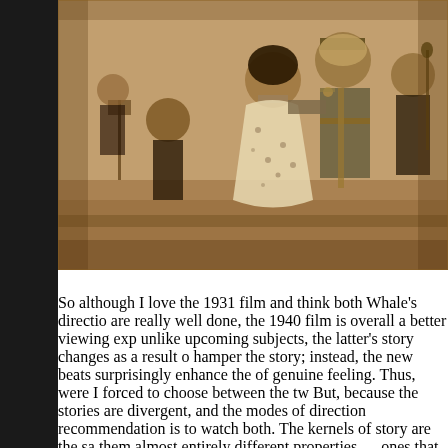[Figure (photo): Vintage sepia-toned photograph of a couple dancing at a formal event, with musicians visible in the background. A woman in a light floral dress dances with a man in military uniform.]
So although I love the 1931 film and think both Whale's direction are really well done, the 1940 film is overall a better viewing experience; unlike upcoming subjects, the latter's story changes as a result of hamper the story; instead, the new beats surprisingly enhance the of genuine feeling. Thus, were I forced to choose between the tw But, because the stories are divergent, and the modes of direction recommendation is to watch both. The kernels of story are the sa them almost entirely different properties — ones that can be enjo their own terms.